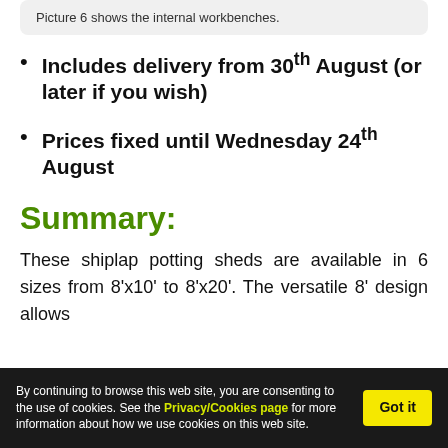Picture 6 shows the internal workbenches.
Includes delivery from 30th August (or later if you wish)
Prices fixed until Wednesday 24th August
Summary:
These shiplap potting sheds are available in 6 sizes from 8'x10' to 8'x20'. The versatile 8' design allows
By continuing to browse this web site, you are consenting to the use of cookies. See the Privacy/Cookies page for more information about how we use cookies on this web site.